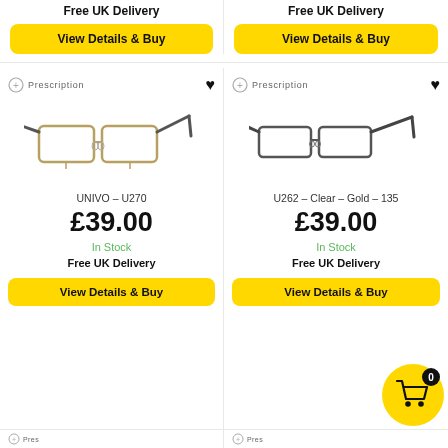Free UK Delivery
View Details & Buy
Free UK Delivery
View Details & Buy
Prescription
[Figure (photo): Silver metal rectangular eyeglass frames with dark temples, product photo on white background]
Prescription
[Figure (photo): Dark/gunmetal rectangular eyeglass frames, product photo on white background]
UNIVO – U270
£39.00
In Stock
Free UK Delivery
View Details & Buy
U262 – Clear – Gold – 135
£39.00
In Stock
Free UK Delivery
View Details & Buy
[Figure (illustration): Yellow circular cart icon with item count badge showing 0]